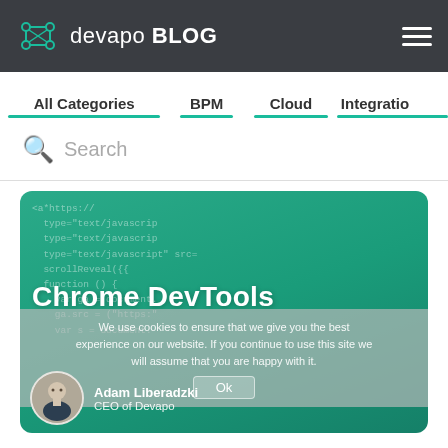devapo BLOG
All Categories | BPM | Cloud | Integratio
Search
[Figure (screenshot): Featured blog post card with teal/green code background showing Chrome DevTools title, author Adam Liberadzki CEO of Devapo, with a cookie consent overlay]
Chrome DevTools
Adam Liberadzki
CEO of Devapo